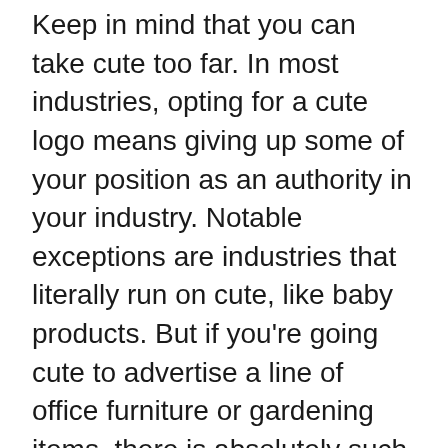Keep in mind that you can take cute too far. In most industries, opting for a cute logo means giving up some of your position as an authority in your industry. Notable exceptions are industries that literally run on cute, like baby products. But if you're going cute to advertise a line of office furniture or gardening items, there is absolutely such a thing as too cute. Recognizing too cute is a know-it-when-you-see-it kind of situation that happens when a cute image undermines the product it's representing.
Take a look at these different ways to do cute logos. Cute can be somewhat subjective, but here are some of the most common techniques.